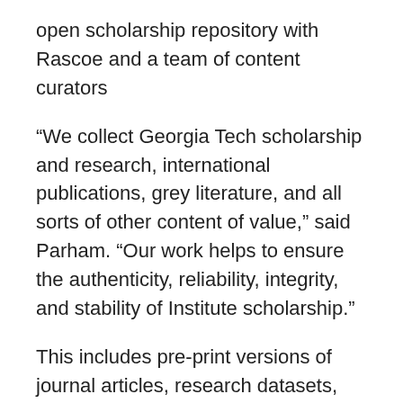open scholarship repository with Rascoe and a team of content curators
“We collect Georgia Tech scholarship and research, international publications, grey literature, and all sorts of other content of value,” said Parham. “Our work helps to ensure the authenticity, reliability, integrity, and stability of Institute scholarship.”
This includes pre-print versions of journal articles, research datasets, conference presentation material, videos of scholarly lectures series, technical reports, working papers, faculty podcast recordings, student scholarship, and the entire digitized collection